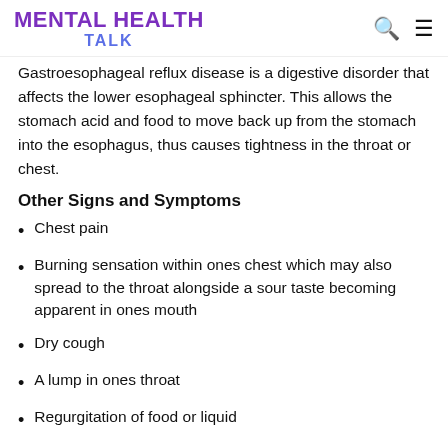MENTAL HEALTH TALK
Gastroesophageal reflux disease is a digestive disorder that affects the lower esophageal sphincter. This allows the stomach acid and food to move back up from the stomach into the esophagus, thus causes tightness in the throat or chest.
Other Signs and Symptoms
Chest pain
Burning sensation within ones chest which may also spread to the throat alongside a sour taste becoming apparent in ones mouth
Dry cough
A lump in ones throat
Regurgitation of food or liquid